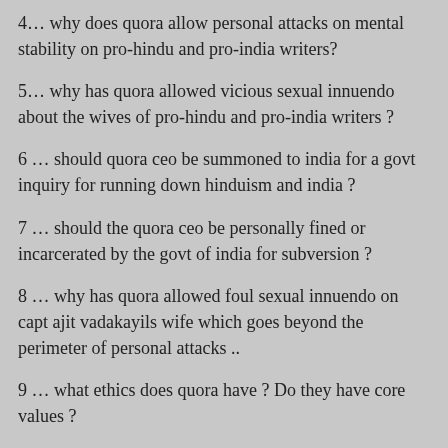4… why does quora allow personal attacks on mental stability on pro-hindu and pro-india writers?
5… why has quora allowed vicious sexual innuendo about the wives of pro-hindu and pro-india writers ?
6 … should quora ceo be summoned to india for a govt inquiry for running down hinduism and india ?
7 … should the quora ceo be personally fined or incarcerated by the govt of india for subversion ?
8 … why has quora allowed foul sexual innuendo on capt ajit vadakayils wife which goes beyond the perimeter of personal attacks ..
9 … what ethics does quora have ? Do they have core values ?
10 …